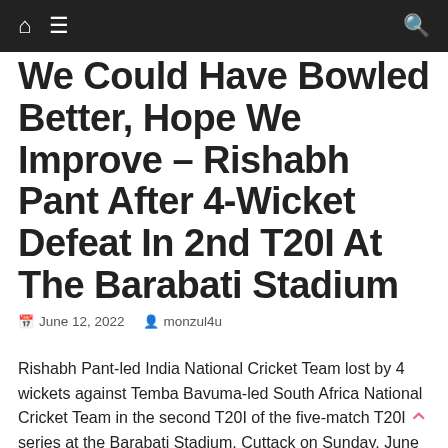Navigation bar with home, menu, and search icons
We Could Have Bowled Better, Hope We Improve – Rishabh Pant After 4-Wicket Defeat In 2nd T20I At The Barabati Stadium
June 12, 2022  monzul4u
Rishabh Pant-led India National Cricket Team lost by 4 wickets against Temba Bavuma-led South Africa National Cricket Team in the second T20I of the five-match T20I series at the Barabati Stadium, Cuttack on Sunday, June 12.